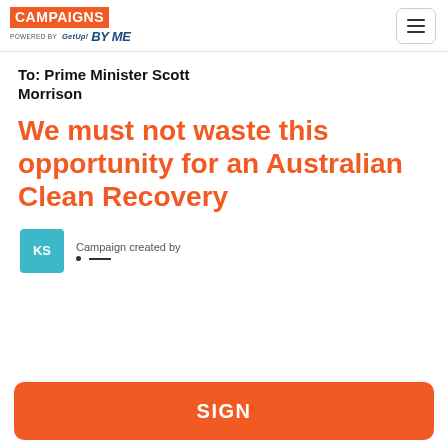[Figure (logo): Campaigns By Me powered by GetUp logo — orange rectangle with white text CAMPAIGNS, below: POWERED BY GetUp in small text, BY ME in bold italic blue]
To: Prime Minister Scott Morrison
We must not waste this opportunity for an Australian Clean Recovery
Campaign created by KS ·  —
SIGN